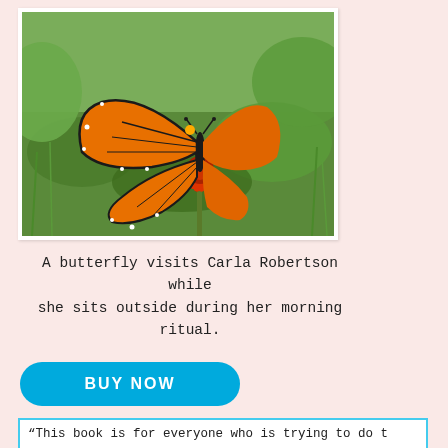[Figure (photo): A monarch butterfly perched on a red flower (coneflower/echinacea) in a garden, with green leaves and grass in the background.]
A butterfly visits Carla Robertson while she sits outside during her morning ritual.
BUY NOW
“This book is for everyone who is trying to do t